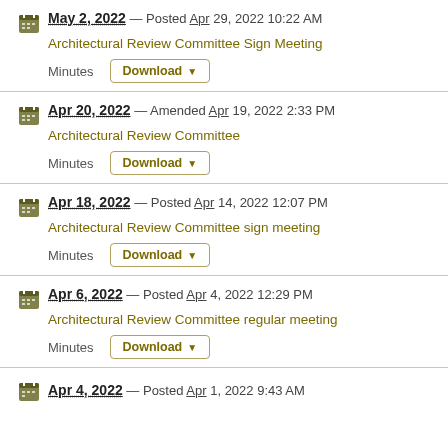May 2, 2022 — Posted Apr 29, 2022 10:22 AM
Architectural Review Committee Sign Meeting
Minutes Download
Apr 20, 2022 — Amended Apr 19, 2022 2:33 PM
Architectural Review Committee
Minutes Download
Apr 18, 2022 — Posted Apr 14, 2022 12:07 PM
Architectural Review Committee sign meeting
Minutes Download
Apr 6, 2022 — Posted Apr 4, 2022 12:29 PM
Architectural Review Committee regular meeting
Minutes Download
Apr 4, 2022 — Posted Apr 1, 2022 9:43 AM